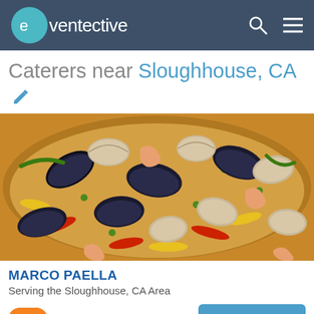eventective
Caterers near Sloughhouse, CA
[Figure (photo): A large pan of seafood paella with mussels, clams, shrimp, peas, and colorful bell peppers]
MARCO PAELLA
Serving the Sloughhouse, CA Area
👍 1
Request Pricing